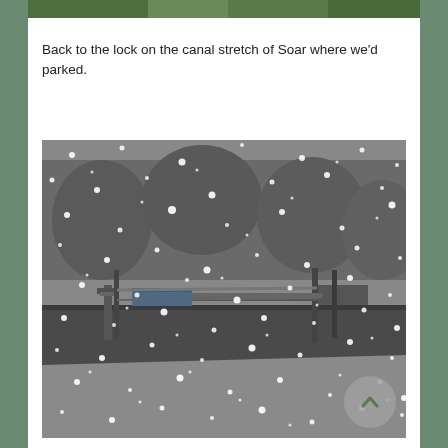[Figure (photo): Partial strip of a nature/outdoor photo visible at the very top of the page, cropped heavily]
Back to the lock on the canal stretch of Soar where we'd parked.
[Figure (photo): Black and white photograph of a canal lock in heavy snowfall. Lock gates and metal railings are visible in the centre, with snow falling densely across the entire scene. The surrounding ground and structures are dusted with snow.]